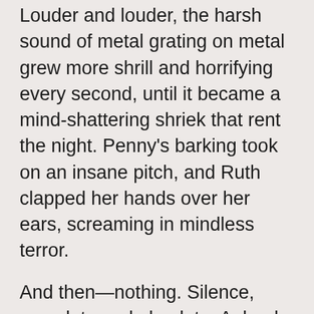Louder and louder, the harsh sound of metal grating on metal grew more shrill and horrifying every second, until it became a mind-shattering shriek that rent the night. Penny's barking took on an insane pitch, and Ruth clapped her hands over her ears, screaming in mindless terror.
And then—nothing. Silence, complete and absolute. A dead hush settled over the room, muting even the sounds of Penny's miserable whimpers and Ruth's ragged breathing.
Shaking from head to toe, and filled with a nauseating horror she'd never imagined existed, Ruth wanted to believe whatever had just happened was finished. The sickly, greenish light began to fade from her wall, and she whispered a